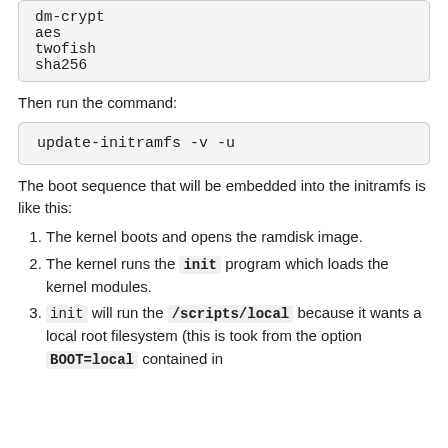dm-crypt
aes
twofish
sha256
Then run the command:
update-initramfs -v -u
The boot sequence that will be embedded into the initramfs is like this:
The kernel boots and opens the ramdisk image.
The kernel runs the init program which loads the kernel modules.
init will run the /scripts/local because it wants a local root filesystem (this is took from the option BOOT=local contained in